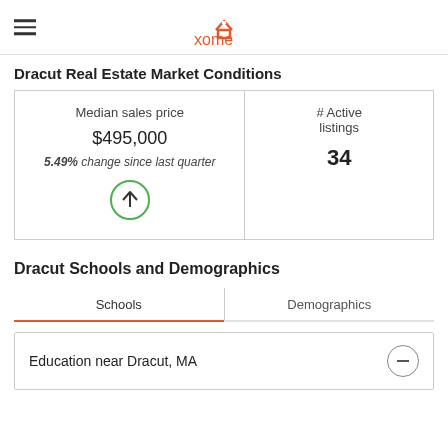xome
Dracut Real Estate Market Conditions
| Median sales price | # Active listings |
| --- | --- |
| $495,000
5.49% change since last quarter | 34 |
Dracut Schools and Demographics
Schools | Demographics
Education near Dracut, MA